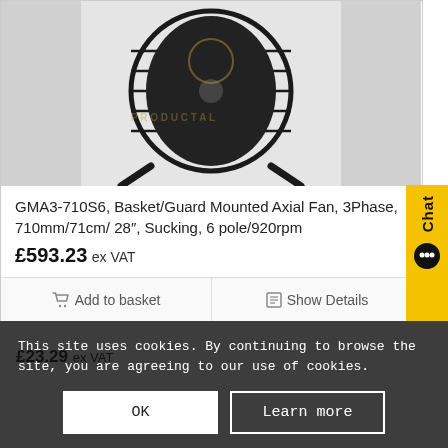[Figure (photo): Black axial fan with basket/guard mount, photographed against white background]
GMA3-710S6, Basket/Guard Mounted Axial Fan, 3Phase, 710mm/71cm/ 28″, Sucking, 6 pole/920rpm
£593.23 ex VAT
Add to basket
Show Details
Chat
This site uses cookies. By continuing to browse the site, you are agreeing to our use of cookies.
£23.29 ex VAT
OK
Learn more
Add to basket